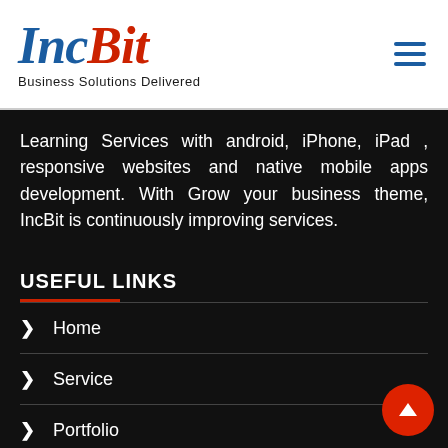[Figure (logo): IncBit logo with 'Inc' in blue serif italic and 'Bit' in red serif italic, tagline 'Business Solutions Delivered' below]
[Figure (other): Hamburger menu icon with three horizontal blue lines]
Learning Services with android, iPhone, iPad , responsive websites and native mobile apps development. With Grow your business theme, IncBit is continuously improving services.
USEFUL LINKS
Home
Service
Portfolio
Career
Contact